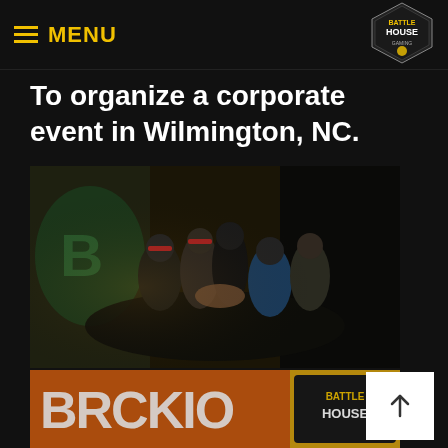MENU
To organize a corporate event in Wilmington, NC.
[Figure (photo): Group of people in a huddle, hands together in the center, outdoors at night near graffiti wall]
[Figure (photo): Battle House sign with graffiti lettering on orange and yellow painted wall, close-up shot]